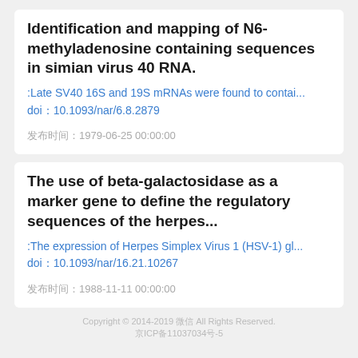Identification and mapping of N6-methyladenosine containing sequences in simian virus 40 RNA.
:Late SV40 16S and 19S mRNAs were found to contai...
doi：10.1093/nar/6.8.2879
发布时间：1979-06-25 00:00:00
The use of beta-galactosidase as a marker gene to define the regulatory sequences of the herpes...
:The expression of Herpes Simplex Virus 1 (HSV-1) gl...
doi：10.1093/nar/16.21.10267
发布时间：1988-11-11 00:00:00
Copyright © 2014-2019 微信 All Rights Reserved.
京ICP备11037034号-5